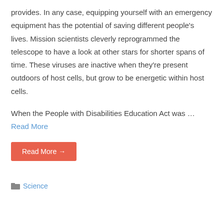provides. In any case, equipping yourself with an emergency equipment has the potential of saving different people's lives. Mission scientists cleverly reprogrammed the telescope to have a look at other stars for shorter spans of time. These viruses are inactive when they're present outdoors of host cells, but grow to be energetic within host cells.
When the People with Disabilities Education Act was ... Read More
Read More →
Science